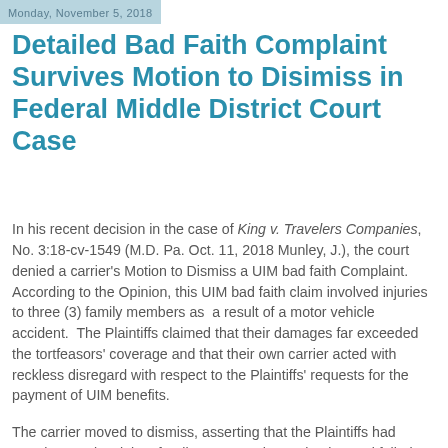Monday, November 5, 2018
Detailed Bad Faith Complaint Survives Motion to Disimiss in Federal Middle District Court Case
In his recent decision in the case of King v. Travelers Companies, No. 3:18-cv-1549 (M.D. Pa. Oct. 11, 2018 Munley, J.), the court denied a carrier’s Motion to Dismiss a UIM bad faith Complaint.
According to the Opinion, this UIM bad faith claim involved injuries to three (3) family members as  a result of a motor vehicle accident.  The Plaintiffs claimed that their damages far exceeded the tortfeasors’ coverage and that their own carrier acted with reckless disregard with respect to the Plaintiffs’ requests for the payment of UIM benefits.
The carrier moved to dismiss, asserting that the Plaintiffs had merely stated a claim of a dispute over the evaluation and failed to allege any specific facts beyond that to support